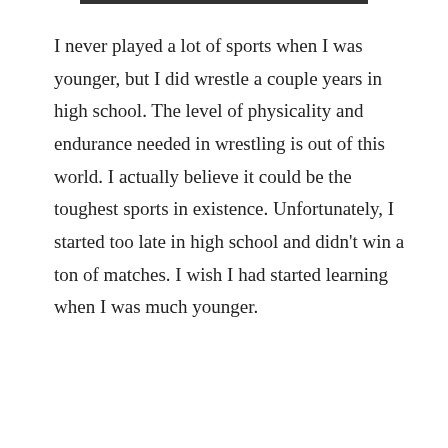I never played a lot of sports when I was younger, but I did wrestle a couple years in high school. The level of physicality and endurance needed in wrestling is out of this world. I actually believe it could be the toughest sports in existence. Unfortunately, I started too late in high school and didn't win a ton of matches. I wish I had started learning when I was much younger.